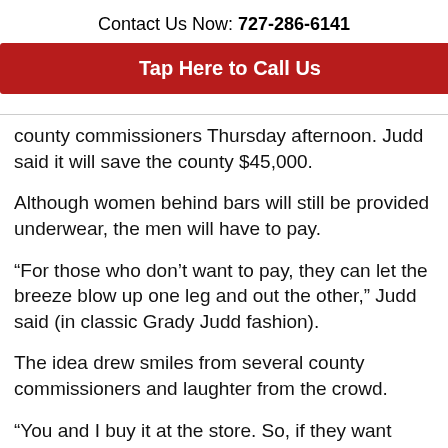Contact Us Now: 727-286-6141
Tap Here to Call Us
county commissioners Thursday afternoon. Judd said it will save the county $45,000.
Although women behind bars will still be provided underwear, the men will have to pay.
“For those who don’t want to pay, they can let the breeze blow up one leg and out the other,” Judd said (in classic Grady Judd fashion).
The idea drew smiles from several county commissioners and laughter from the crowd.
“You and I buy it at the store. So, if they want